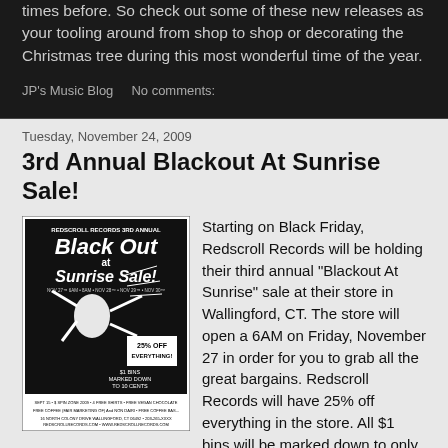times before. So check out some of these new releases as your tooling around from shop to shop or decorating the Christmas tree during this most wonderful time of the year.
JP's Music Blog    No comments:
Tuesday, November 24, 2009
3rd Annual Blackout At Sunrise Sale!
[Figure (illustration): Black and white flyer for Redscroll Records 3rd Annual Black Out at Sunrise Sale with illustrated figure and sale details]
Starting on Black Friday, Redscroll Records will be holding their third annual "Blackout At Sunrise" sale at their store in Wallingford, CT. The store will open a 6AM on Friday, November 27 in order for you to grab all the great bargains. Redscroll Records will have 25% off everything in the store. All $1 bins will be marked down to only 10 cents and there will also be FREE coffee and vegan chocolate (while supplies last). FREE t-shirts will be